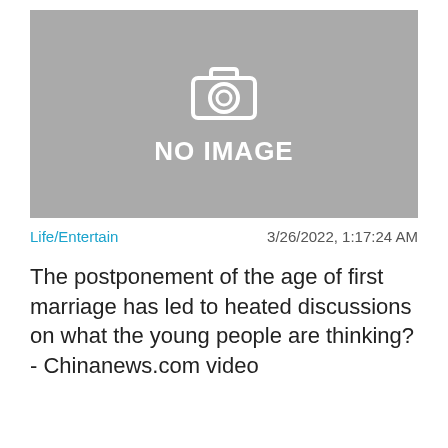[Figure (other): Gray placeholder image with camera icon and text NO IMAGE]
Life/Entertain    3/26/2022, 1:17:24 AM
The postponement of the age of first marriage has led to heated discussions on what the young people are thinking? - Chinanews.com video